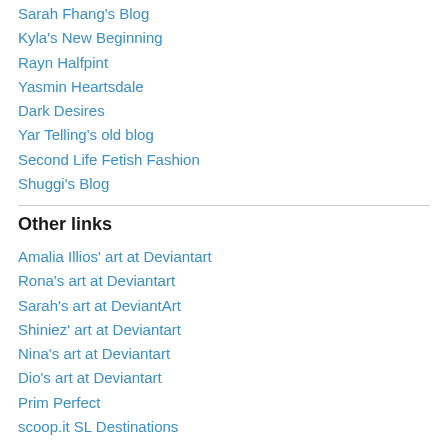Sarah Fhang's Blog
Kyla's New Beginning
Rayn Halfpint
Yasmin Heartsdale
Dark Desires
Yar Telling's old blog
Second Life Fetish Fashion
Shuggi's Blog
Other links
Amalia Illios' art at Deviantart
Rona's art at Deviantart
Sarah's art at DeviantArt
Shiniez' art at Deviantart
Nina's art at Deviantart
Dio's art at Deviantart
Prim Perfect
scoop.it SL Destinations